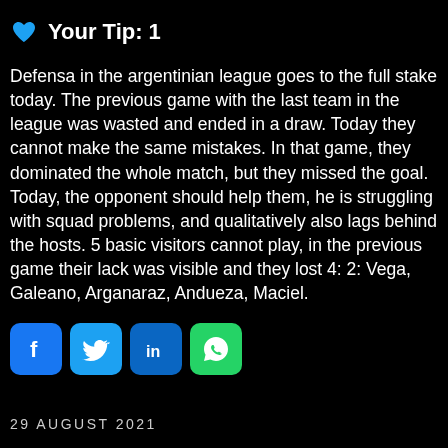Your Tip: 1
Defensa in the argentinian league goes to the full stake today. The previous game with the last team in the league was wasted and ended in a draw. Today they cannot make the same mistakes. In that game, they dominated the whole match, but they missed the goal. Today, the opponent should help them, he is struggling with squad problems, and qualitatively also lags behind the hosts. 5 basic visitors cannot play, in the previous game their lack was visible and they lost 4: 2: Vega, Galeano, Arganaraz, Andueza, Maciel.
[Figure (infographic): Social media share buttons: Facebook (blue), Twitter (light blue), LinkedIn (dark blue), WhatsApp (green)]
29 AUGUST 2021